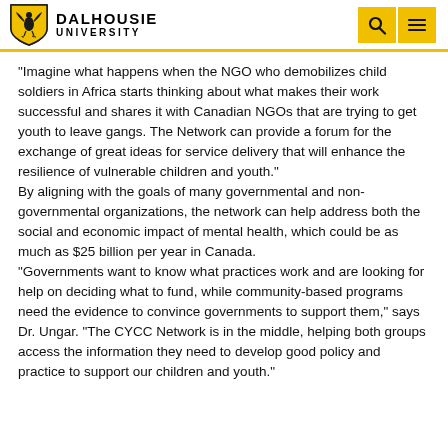Dalhousie University
"Imagine what happens when the NGO who demobilizes child soldiers in Africa starts thinking about what makes their work successful and shares it with Canadian NGOs that are trying to get youth to leave gangs. The Network can provide a forum for the exchange of great ideas for service delivery that will enhance the resilience of vulnerable children and youth."
By aligning with the goals of many governmental and non-governmental organizations, the network can help address both the social and economic impact of mental health, which could be as much as $25 billion per year in Canada.
"Governments want to know what practices work and are looking for help on deciding what to fund, while community-based programs need the evidence to convince governments to support them," says Dr. Ungar. "The CYCC Network is in the middle, helping both groups access the information they need to develop good policy and practice to support our children and youth."